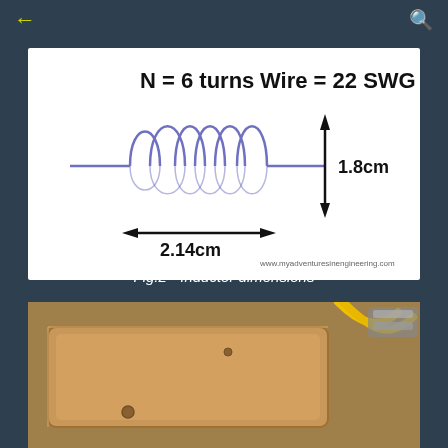← [back] [search]
[Figure (engineering-diagram): Diagram of an inductor coil showing N=6 turns, Wire=22 SWG, diameter 1.8cm, length 2.14cm. Coil drawn with purple/blue loops on a horizontal wire. Arrows show dimensions. Website: www.myadventuresinengineering.com]
Fig.2 - Inductor dimensions
[Figure (photo): Photograph of a copper/bronze colored electronic component (inductor or coil housing) with yellow wires visible in the upper right, being held with pliers or similar tool.]